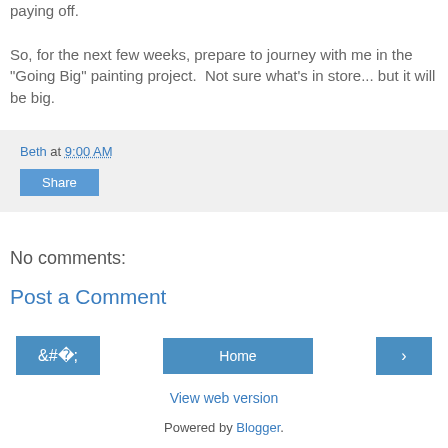paying off.

So, for the next few weeks, prepare to journey with me in the "Going Big" painting project.  Not sure what's in store... but it will be big.
Beth at 9:00 AM
Share
No comments:
Post a Comment
‹  Home  ›
View web version
Powered by Blogger.